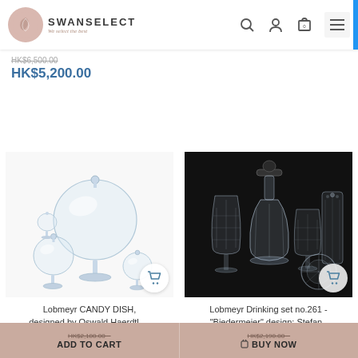SwanSelect — We select the best
HK$5,200.00
[Figure (photo): Lobmeyr candy dish glassware set on white background — spherical crystal pieces on stems]
Lobmeyr CANDY DISH, designed by Oswald Haerdtl,...
[Figure (photo): Lobmeyr Drinking set no.261 Biedermeier design on black background — crystal decanters and glasses]
Lobmeyr Drinking set no.261 - "Biedermeier" design: Stefan..
HK$2,100.00 ~ ADD TO CART
HK$2,190.00 ~ BUY NOW